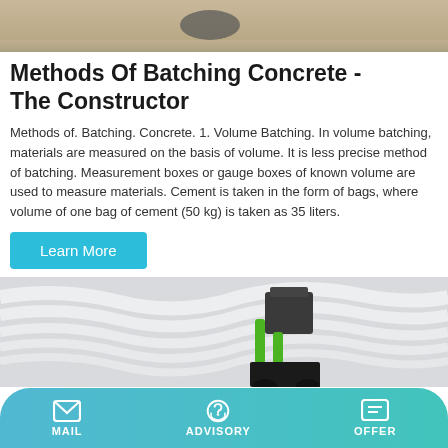[Figure (photo): Top portion of a photo showing a concrete floor surface, partially visible]
Methods Of Batching Concrete - The Constructor
Methods of. Batching. Concrete. 1. Volume Batching. In volume batching, materials are measured on the basis of volume. It is less precise method of batching. Measurement boxes or gauge boxes of known volume are used to measure materials. Cement is taken in the form of bags, where volume of one bag of cement (50 kg) is taken as 35 liters.
[Figure (photo): Bottom photo showing a construction machine or robot with green mechanical arms against a background of wavy white architectural forms]
MAIL  ADVISORY  OFFER